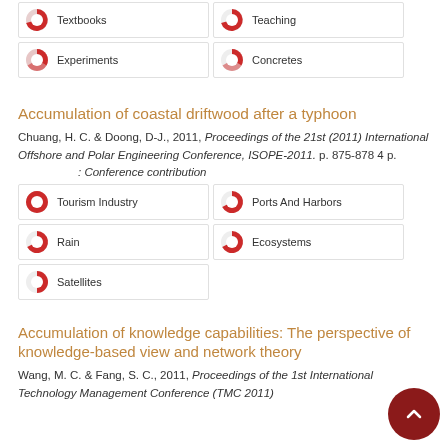Textbooks
Teaching
Experiments
Concretes
Accumulation of coastal driftwood after a typhoon
Chuang, H. C. & Doong, D-J., 2011, Proceedings of the 21st (2011) International Offshore and Polar Engineering Conference, ISOPE-2011. p. 875-878 4 p.
: Conference contribution
Tourism Industry
Ports And Harbors
Rain
Ecosystems
Satellites
Accumulation of knowledge capabilities: The perspective of knowledge-based view and network theory
Wang, M. C. & Fang, S. C., 2011, Proceedings of the 1st International Technology Management Conference (TMC 2011)